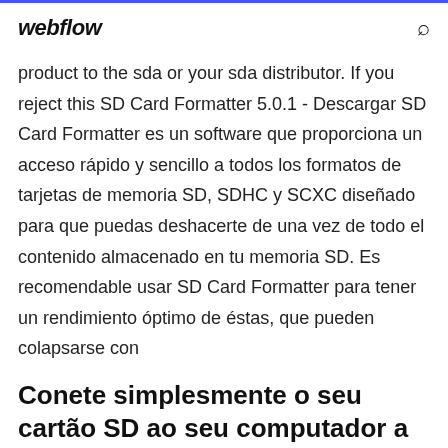webflow
product to the sda or your sda distributor. If you reject this SD Card Formatter 5.0.1 - Descargar SD Card Formatter es un software que proporciona un acceso rápido y sencillo a todos los formatos de tarjetas de memoria SD, SDHC y SCXC diseñado para que puedas deshacerte de una vez de todo el contenido almacenado en tu memoria SD. Es recomendable usar SD Card Formatter para tener un rendimiento óptimo de éstas, que pueden colapsarse con
Conete simplesmente o seu cartão SD ao seu computador a